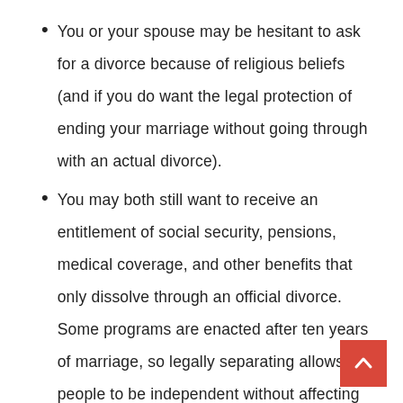You or your spouse may be hesitant to ask for a divorce because of religious beliefs (and if you do want the legal protection of ending your marriage without going through with an actual divorce).
You may both still want to receive an entitlement of social security, pensions, medical coverage, and other benefits that only dissolve through an official divorce. Some programs are enacted after ten years of marriage, so legally separating allows two people to be independent without affecting the timeline of progression with